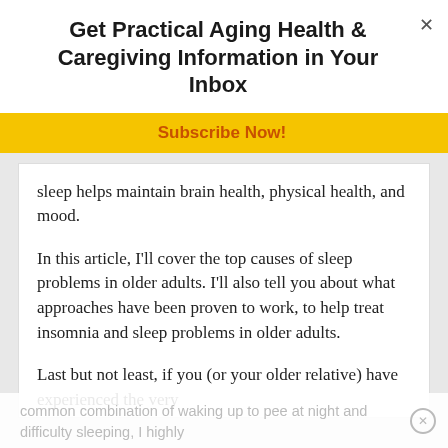Get Practical Aging Health & Caregiving Information in Your Inbox
Subscribe Now!
sleep helps maintain brain health, physical health, and mood.
In this article, I'll cover the top causes of sleep problems in older adults. I'll also tell you about what approaches have been proven to work, to help treat insomnia and sleep problems in older adults.
Last but not least, if you (or your older relative) have experienced the very common combination of waking up to pee at night and difficulty sleeping, I highly